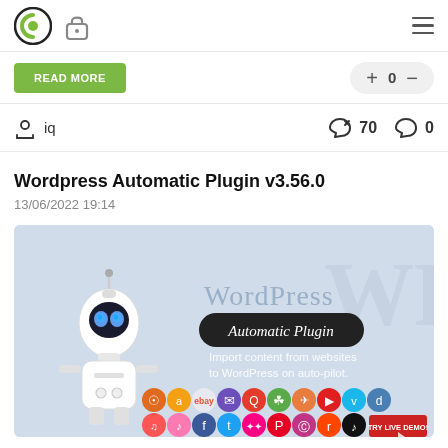[Logo] [Lock icon] [Hamburger menu]
READ MORE   + 0 −
[user icon] iq   ↩ 70   ↩ 0
Wordpress Automatic Plugin v3.56.0
13/06/2022 19:14
[Figure (illustration): WordPress Automatic Plugin promotional banner with a robot (WALL-E style), text 'WordPress Automatic Plugin', 'Import content from websites to WordPress on auto-pilot.', social media icons, and a red 'TRY LIVE DEMO!' button.]